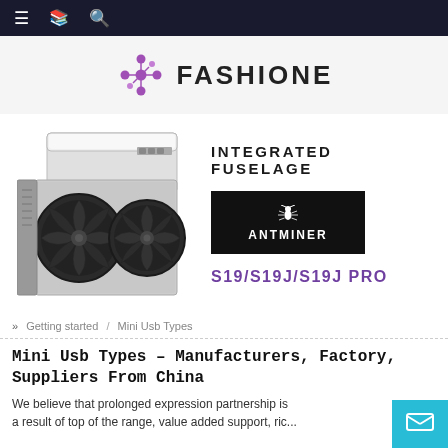Navigation bar with menu, book, and search icons
[Figure (logo): FASHIONE logo with purple dot-cluster icon and bold black FASHIONE text]
[Figure (photo): Bitmain Antminer S19/S19J/S19J Pro cryptocurrency mining hardware with two large fans, alongside ANTMINER badge logo and product model text S19/S19J/S19J PRO and INTEGRATED FUSELAGE label]
» Getting started / Mini Usb Types
Mini Usb Types – Manufacturers, Factory, Suppliers From China
We believe that prolonged expression partnership is a result of top of the range, value added support, ric...